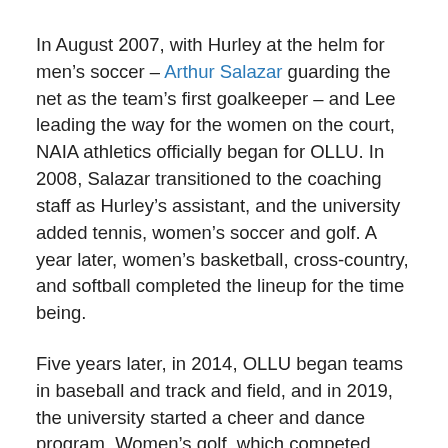In August 2007, with Hurley at the helm for men's soccer – Arthur Salazar guarding the net as the team's first goalkeeper – and Lee leading the way for the women on the court, NAIA athletics officially began for OLLU. In 2008, Salazar transitioned to the coaching staff as Hurley's assistant, and the university added tennis, women's soccer and golf. A year later, women's basketball, cross-country, and softball completed the lineup for the time being.
Five years later, in 2014, OLLU began teams in baseball and track and field, and in 2019, the university started a cheer and dance program. Women's golf, which competed from 2008-2010, was reinstated in 2019, as well as women's tennis, which competed from 2008-2014.